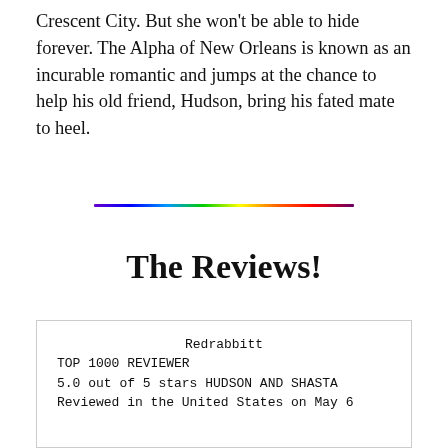Crescent City. But she won't be able to hide forever. The Alpha of New Orleans is known as an incurable romantic and jumps at the chance to help his old friend, Hudson, bring his fated mate to heel.
[Figure (illustration): A horizontal rainbow-colored gradient line used as a decorative divider]
The Reviews!
Redrabbitt
TOP 1000 REVIEWER
5.0 out of 5 stars HUDSON AND SHASTA
Reviewed in the United States on May 6